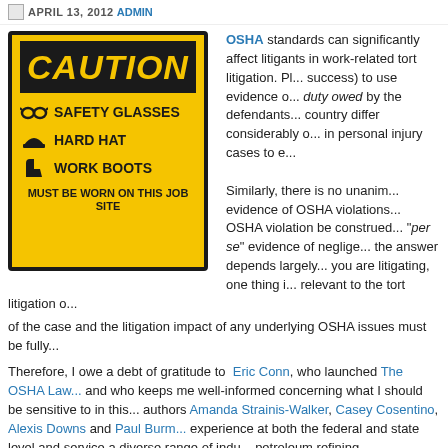APRIL 13, 2012 ADMIN
OSHA standards can significantly affect litigants in work-related tort litigation. Pl... success) to use evidence o... duty owed by the defendants... country differ considerably o... in personal injury cases to e...
[Figure (photo): Yellow caution sign with black border reading 'CAUTION' at top, followed by items: Safety Glasses (with icon), Hard Hat (with icon), Work Boots (with icon), and 'MUST BE WORN ON THIS JOB SITE' at bottom.]
Similarly, there is no unanim... evidence of OSHA violations... OSHA violation be construed... 'per se' evidence of neglige... the answer depends largely... you are litigating, one thing i... relevant to the tort litigation o... of the case and the litigation impact of any underlying OSHA issues must be fully...
Therefore, I owe a debt of gratitude to Eric Conn, who launched The OSHA Law... and who keeps me well-informed concerning what I should be sensitive to in this... authors Amanda Strainis-Walker, Casey Cosentino, Alexis Downs and Paul Burm... experience at both the federal and state level and service a diverse range of indu... petroleum refining, manufacturing, construction, natural gas and electrical power... the agricultural, retail, and hospitality sectors. Their blog provides industry with w... OSHA knocks on the front door.